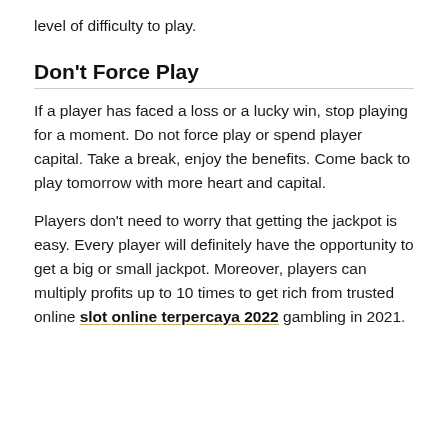level of difficulty to play.
Don’t Force Play
If a player has faced a loss or a lucky win, stop playing for a moment. Do not force play or spend player capital. Take a break, enjoy the benefits. Come back to play tomorrow with more heart and capital.
Players don’t need to worry that getting the jackpot is easy. Every player will definitely have the opportunity to get a big or small jackpot. Moreover, players can multiply profits up to 10 times to get rich from trusted online slot online terpercaya 2022 gambling in 2021.